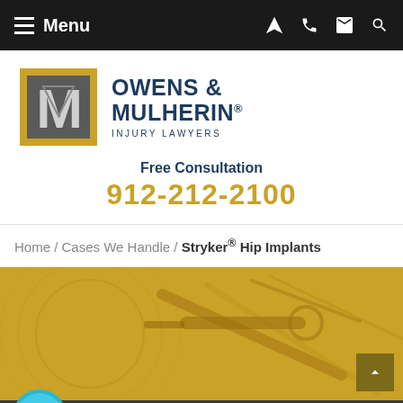Menu
[Figure (logo): Owens & Mulherin Injury Lawyers logo with M lettermark in gold square]
OWENS & MULHERIN® INJURY LAWYERS
Free Consultation
912-212-2100
Home / Cases We Handle / Stryker® Hip Implants
[Figure (photo): Hero image with gold background showing medical/surgical instruments]
LIVE CHAT  START NOW